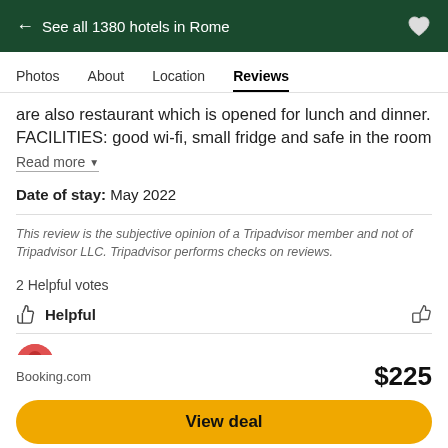← See all 1380 hotels in Rome
Photos   About   Location   Reviews
are also restaurant which is opened for lunch and dinner. FACILITIES: good wi-fi, small fridge and safe in the room
Read more
Date of stay: May 2022
This review is the subjective opinion of a Tripadvisor member and not of Tripadvisor LLC. Tripadvisor performs checks on reviews.
2 Helpful votes
Helpful
Response from Bettoja Hotels, Marketing at
Booking.com  $225
View deal